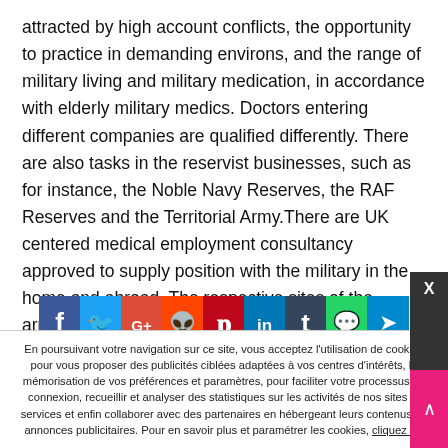attracted by high account conflicts, the opportunity to practice in demanding environs, and the range of military living and military medication, in accordance with elderly military medics. Doctors entering different companies are qualified differently. There are also tasks in the reservist businesses, such as for instance, the Noble Navy Reserves, the RAF Reserves and the Territorial Army.There are UK centered medical employment consultancy approved to supply position with the military in the home and abroad. The respective sites of the armed makes have information about hiring and eligibility for medical careers.
[Figure (infographic): Social media sharing buttons: Facebook, Twitter, Google+, Reddit, Pinterest, LinkedIn, Tumblr, WhatsApp, Telegram]
En poursuivant votre navigation sur ce site, vous acceptez l'utilisation de cookies pour vous proposer des publicités ciblées adaptées à vos centres d'intérêts, la mémorisation de vos préférences et paramètres, pour faciliter votre processus de connexion, recueillir et analyser des statistiques sur les activités de nos sites et services et enfin collaborer avec des partenaires en hébergeant leurs contenus ou annonces publicitaires. Pour en savoir plus et paramétrer les cookies, cliquez ici.